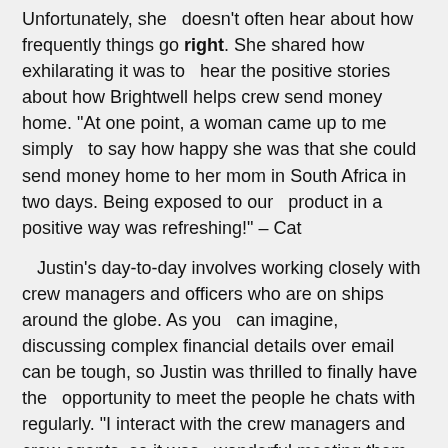Unfortunately, she doesn't often hear about how frequently things go right. She shared how exhilarating it was to hear the positive stories about how Brightwell helps crew send money home. "At one point, a woman came up to me simply to say how happy she was that she could send money home to her mom in South Africa in two days. Being exposed to our product in a positive way was refreshing!" – Cat
Justin's day-to-day involves working closely with crew managers and officers who are on ships around the globe. As you can imagine, discussing complex financial details over email can be tough, so Justin was thrilled to finally have the opportunity to meet the people he chats with regularly. "I interact with the crew managers and crew agents, so it was wonderful meeting them and putting a face to a name. It brings everything full circle and brought a perspective that I didn't have before. It helped tremendously." – Justin